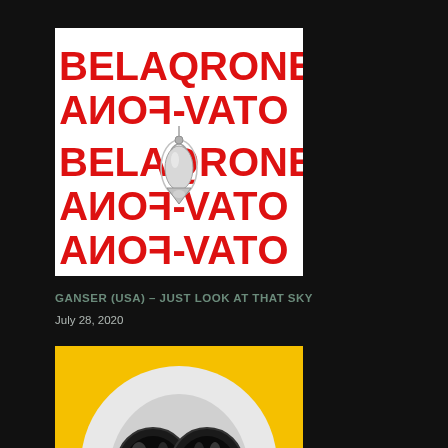[Figure (illustration): Album cover with red bold text BELAQRONE and OTAV-FONA repeated multiple times, white background, with a silver/chrome decorative charm or pendant in the center]
GANSER (USA) – JUST LOOK AT THAT SKY
July 28, 2020
[Figure (illustration): Album cover with yellow background, featuring a black and white circular image of a child's face wearing large round black goggles/glasses. A black square with 'G' logo in white is in the bottom right corner.]
PROTOMARTYР (USA) – ULTIMATE SUCCESS TODAY